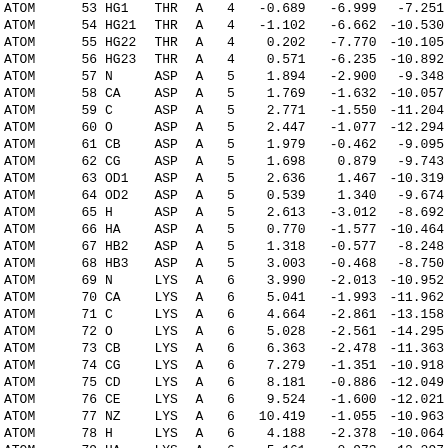| Type | Num | Name | Res | Chain | Seq | X | Y | Z |
| --- | --- | --- | --- | --- | --- | --- | --- | --- |
| ATOM | 53 | HG1 | THR | A | 4 | -0.689 | -6.999 | -7.251 |
| ATOM | 54 | HG21 | THR | A | 4 | -1.102 | -6.662 | -10.530 |
| ATOM | 55 | HG22 | THR | A | 4 | 0.202 | -7.770 | -10.105 |
| ATOM | 56 | HG23 | THR | A | 4 | 0.571 | -6.235 | -10.892 |
| ATOM | 57 | N | ASP | A | 5 | 1.894 | -2.900 | -9.348 |
| ATOM | 58 | CA | ASP | A | 5 | 1.769 | -1.632 | -10.057 |
| ATOM | 59 | C | ASP | A | 5 | 2.771 | -1.550 | -11.204 |
| ATOM | 60 | O | ASP | A | 5 | 2.447 | -1.077 | -12.294 |
| ATOM | 61 | CB | ASP | A | 5 | 1.979 | -0.462 | -9.095 |
| ATOM | 62 | CG | ASP | A | 5 | 1.698 | 0.879 | -9.743 |
| ATOM | 63 | OD1 | ASP | A | 5 | 2.636 | 1.467 | -10.319 |
| ATOM | 64 | OD2 | ASP | A | 5 | 0.539 | 1.340 | -9.674 |
| ATOM | 65 | H | ASP | A | 5 | 2.613 | -3.012 | -8.692 |
| ATOM | 66 | HA | ASP | A | 5 | 0.770 | -1.577 | -10.464 |
| ATOM | 67 | HB2 | ASP | A | 5 | 1.318 | -0.577 | -8.248 |
| ATOM | 68 | HB3 | ASP | A | 5 | 3.003 | -0.468 | -8.750 |
| ATOM | 69 | N | LYS | A | 6 | 3.990 | -2.013 | -10.952 |
| ATOM | 70 | CA | LYS | A | 6 | 5.041 | -1.993 | -11.962 |
| ATOM | 71 | C | LYS | A | 6 | 4.664 | -2.861 | -13.158 |
| ATOM | 72 | O | LYS | A | 6 | 5.028 | -2.561 | -14.295 |
| ATOM | 73 | CB | LYS | A | 6 | 6.363 | -2.478 | -11.363 |
| ATOM | 74 | CG | LYS | A | 6 | 7.279 | -1.351 | -10.918 |
| ATOM | 75 | CD | LYS | A | 6 | 8.181 | -0.886 | -12.049 |
| ATOM | 76 | CE | LYS | A | 6 | 9.524 | -1.600 | -12.021 |
| ATOM | 77 | NZ | LYS | A | 6 | 10.419 | -1.055 | -10.963 |
| ATOM | 78 | H | LYS | A | 6 | 4.188 | -2.378 | -10.064 |
| ATOM | 79 | HA | LYS | A | 6 | 5.161 | -0.973 | -12.297 |
| ATOM | 80 | HB2 | LYS | A | 6 | 6.149 | -3.100 | -10.506 |
| ATOM | 81 | HB3 | LYS | A | 6 | 6.885 | -3.067 | -12.103 |
| ATOM | 82 | HG2 | LYS | A | 6 | 6.677 | -0.519 | -10.587 |